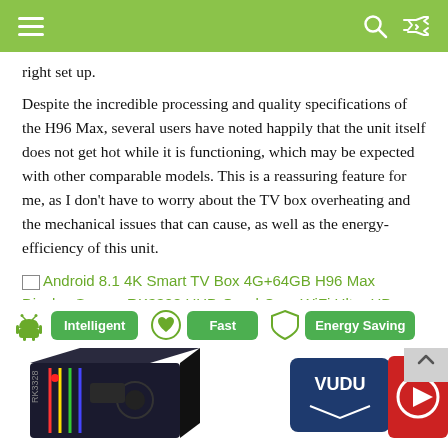Navigation header with menu, search, and shuffle icons
right set up.
Despite the incredible processing and quality specifications of the H96 Max, several users have noted happily that the unit itself does not get hot while it is functioning, which may be expected with other comparable models. This is a reassuring feature for me, as I don't have to worry about the TV box overheating and the mechanical issues that can cause, as well as the energy-efficiency of this unit.
[Figure (screenshot): Broken image placeholder followed by green hyperlink text: 'Android 8.1 4K Smart TV Box 4G+64GB H96 Max Display Screen RK3328 UHD Quad-Core WiFi Ultra HD H.265 Bluetooth']
[Figure (infographic): Product feature badges showing Android robot icon with 'Intelligent', heart icon with 'Fast', and shield icon with 'Energy Saving' on green backgrounds. Below is a partial product photo of the H96 Max TV box and VUDU logo card.]